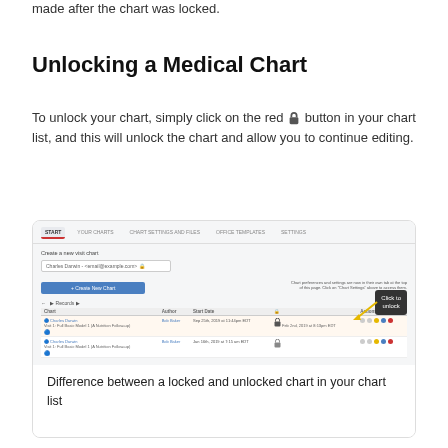made after the chart was locked.
Unlocking a Medical Chart
To unlock your chart, simply click on the red 🔒 button in your chart list, and this will unlock the chart and allow you to continue editing.
[Figure (screenshot): Screenshot showing a chart list interface with a locked and unlocked chart row, and a callout box labeled 'Click to unlock' pointing to the lock icon in the locked chart row.]
Difference between a locked and unlocked chart in your chart list